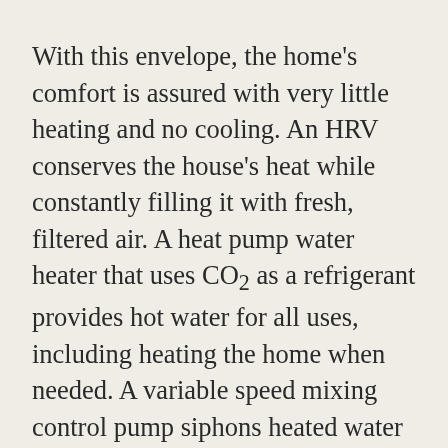With this envelope, the home's comfort is assured with very little heating and no cooling. An HRV conserves the house's heat while constantly filling it with fresh, filtered air. A heat pump water heater that uses CO2 as a refrigerant provides hot water for all uses, including heating the home when needed. A variable speed mixing control pump siphons heated water from the storage tank and delivers it to hydronic piping snaking through the ground-level concrete floor. The thick slab functions here as a thermal buffer, working opposite in summer or winter